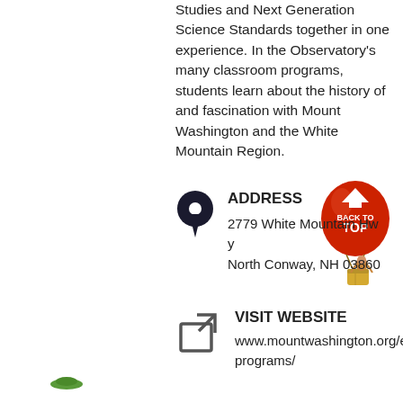Studies and Next Generation Science Standards together in one experience. In the Observatory's many classroom programs, students learn about the history of and fascination with Mount Washington and the White Mountain Region.
[Figure (illustration): Red hot air balloon with 'BACK TO TOP' text and a character in a basket, used as a back-to-top navigation button]
ADDRESS
2779 White Mountain Hwy
North Conway, NH 03860
[Figure (illustration): Map pin / location marker icon in dark color]
VISIT WEBSITE
www.mountwashington.org/educational-programs/
[Figure (illustration): External link / share icon (square with arrow pointing out)]
[Figure (logo): Small green logo at the bottom left of the page]